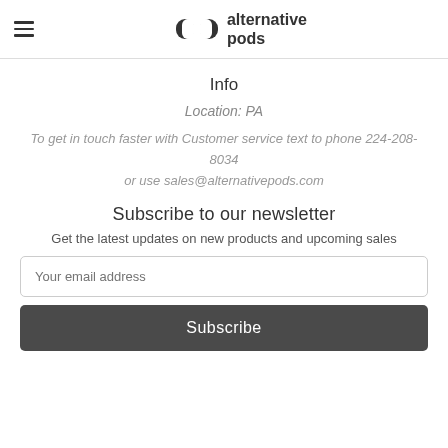alternative pods
Info
Location: PA
To get in touch faster with Customer service text to phone 224-208-8034 or use sales@alternativepods.com
Subscribe to our newsletter
Get the latest updates on new products and upcoming sales